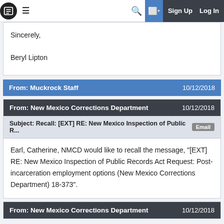Navigation bar — MuckRock: Sign Up, Log In
Sincerely,

Beryl Lipton
From: Muckrock Staff   10/12/2018
From: New Mexico Corrections Department   10/12/2018
Subject: Recall: [EXT] RE: New Mexico Inspection of Public R...   Email
Earl, Catherine, NMCD would like to recall the message, "[EXT] RE: New Mexico Inspection of Public Records Act Request: Post-incarceration employment options (New Mexico Corrections Department) 18-373".
From: New Mexico Corrections Department   10/12/2018